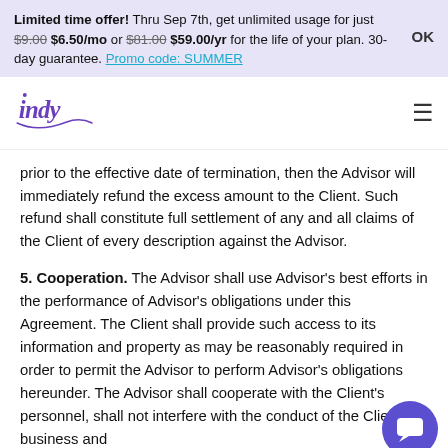Limited time offer! Thru Sep 7th, get unlimited usage for just $9.00 $6.50/mo or $81.00 $59.00/yr for the life of your plan. 30-day guarantee. Promo code: SUMMER  OK
[Figure (logo): Indy logo in purple script with decorative swash]
prior to the effective date of termination, then the Advisor will immediately refund the excess amount to the Client. Such refund shall constitute full settlement of any and all claims of the Client of every description against the Advisor.
5. Cooperation. The Advisor shall use Advisor's best efforts in the performance of Advisor's obligations under this Agreement. The Client shall provide such access to its information and property as may be reasonably required in order to permit the Advisor to perform Advisor's obligations hereunder. The Advisor shall cooperate with the Client's personnel, shall not interfere with the conduct of the Client's business and